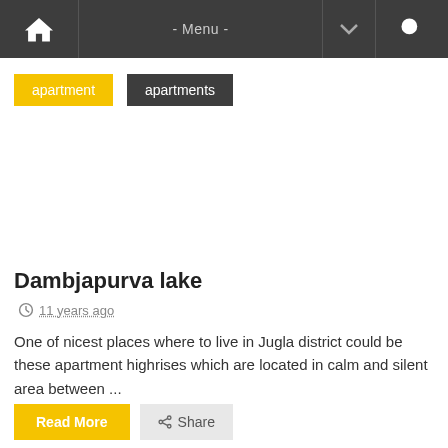– Menu –
apartment
apartments
Dambjapurva lake
11 years ago
One of nicest places where to live in Jugla district could be these apartment highrises which are located in calm and silent area between ...
Read More
Share